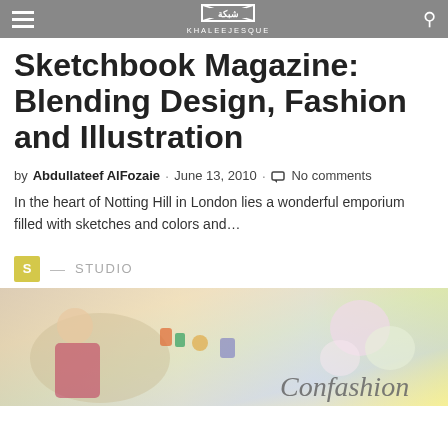KHALEEJESQUE
Sketchbook Magazine: Blending Design, Fashion and Illustration
by Abdullateef AlFozaie · June 13, 2010 · No comments
In the heart of Notting Hill in London lies a wonderful emporium filled with sketches and colors and…
S — STUDIO
[Figure (illustration): Colorful illustration with fashion and animation characters, Confashion text visible at bottom right]